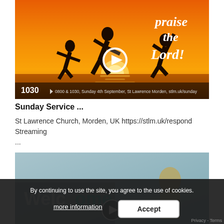[Figure (screenshot): Video thumbnail showing silhouettes of people jumping at sunset with 'Praise the Lord!' text and a play button overlay. Bottom bar shows '1030' and video metadata text.]
Sunday Service ...
St Lawrence Church, Morden, UK https://stlm.uk/respond Streaming ...
[Figure (screenshot): Second video thumbnail showing a partially visible scene with a play button and text overlay, partially obscured by cookie consent banner.]
By continuing to use the site, you agree to the use of cookies.
more information
Accept